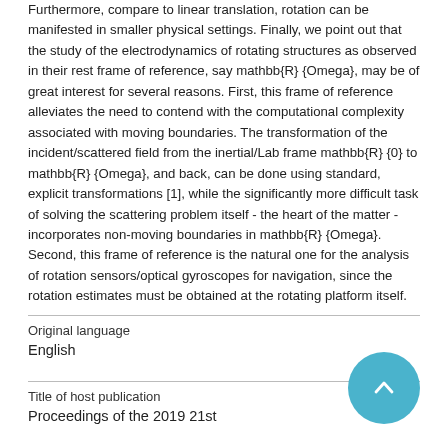Furthermore, compare to linear translation, rotation can be manifested in smaller physical settings. Finally, we point out that the study of the electrodynamics of rotating structures as observed in their rest frame of reference, say mathbb{R} {Omega}, may be of great interest for several reasons. First, this frame of reference alleviates the need to contend with the computational complexity associated with moving boundaries. The transformation of the incident/scattered field from the inertial/Lab frame mathbb{R} {0} to mathbb{R} {Omega}, and back, can be done using standard, explicit transformations [1], while the significantly more difficult task of solving the scattering problem itself - the heart of the matter - incorporates non-moving boundaries in mathbb{R} {Omega}. Second, this frame of reference is the natural one for the analysis of rotation sensors/optical gyroscopes for navigation, since the rotation estimates must be obtained at the rotating platform itself.
| Field | Value |
| --- | --- |
| Original language | English |
| Title of host publication | Proceedings of the 2019 21st |